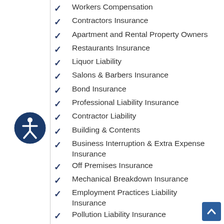Workers Compensation
Contractors Insurance
Apartment and Rental Property Owners
Restaurants Insurance
Liquor Liability
Salons & Barbers Insurance
Bond Insurance
Professional Liability Insurance
Contractor Liability
Building & Contents
Business Interruption & Extra Expense Insurance
Off Premises Insurance
Mechanical Breakdown Insurance
Employment Practices Liability Insurance
Pollution Liability Insurance
Directors & Officers Liability Insurance
[Figure (illustration): Accessibility icon - circular dark blue button with white person/accessibility symbol]
[Figure (illustration): Blue scroll-to-top button with upward arrow]